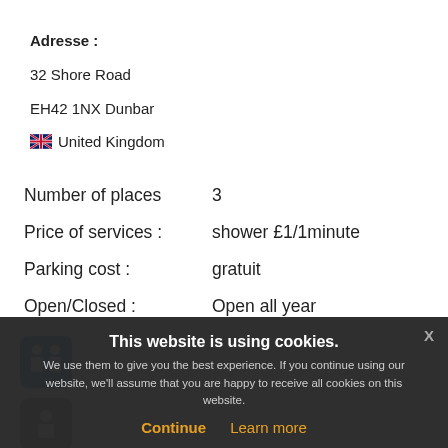Adresse :
32 Shore Road
EH42 1NX Dunbar
🇬🇧 United Kingdom
Number of places	3
Price of services :	shower £1/1minute
Parking cost :	gratuit
Open/Closed :	Open all year
[Figure (infographic): Blue icon showing toilet/restroom facilities (two person silhouettes)]
[Figure (infographic): Grey icon (partially visible)]
[Figure (infographic): Dark grey icon showing waste/bin symbol]
This website is using cookies.
We use them to give you the best experience. If you continue using our website, we'll assume that you are happy to receive all cookies on this website.
Continue  Learn more